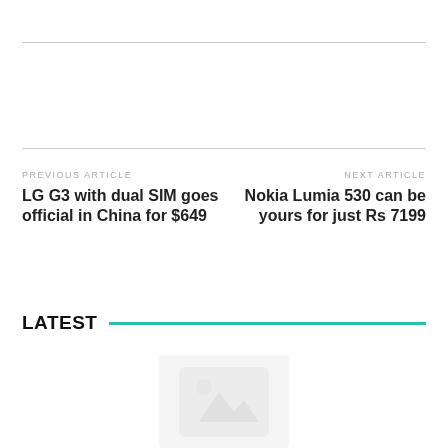PREVIOUS ARTICLE
LG G3 with dual SIM goes official in China for $649
NEXT ARTICLE
Nokia Lumia 530 can be yours for just Rs 7199
LATEST
[Figure (photo): Partial image of a device/phone icon, light grey placeholder]